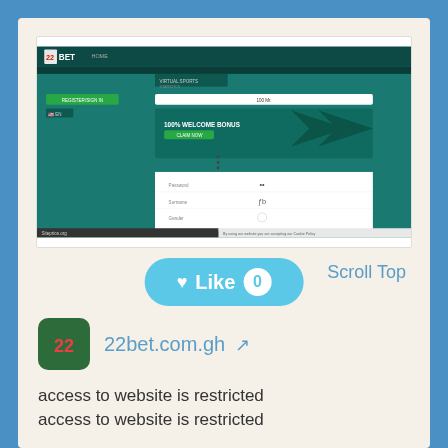[Figure (screenshot): Screenshot of 22BET website showing virtual sports betting interface with teal background, registration form, and 100% welcome bonus banner. Watermark 'Siteprice.org' visible at bottom left.]
Like 0
Scroll Top
22bet.com.gh
access to website is restricted
access to website is restricted